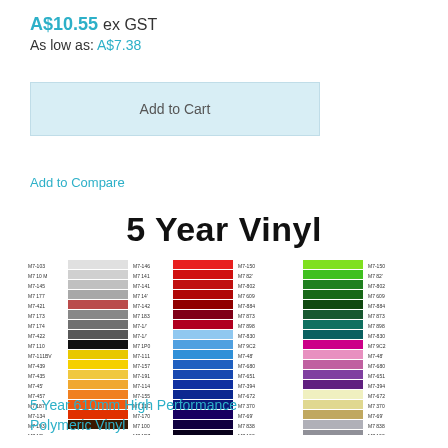A$10.55 ex GST
As low as: A$7.38
Add to Cart
Add to Compare
5 Year Vinyl
[Figure (illustration): Color swatch chart showing vinyl colors with product codes in a grid layout]
5 Year 610mm High Performance Polymeric Vinyl